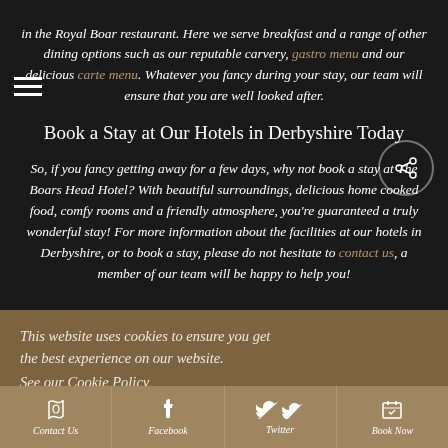in the Royal Boar restaurant. Here we serve breakfast and a range of other dining options such as our reputable carvery, gastro menu and our delicious carte menu. Whatever you fancy during your stay, our team will ensure that you are well looked after.
Book a Stay at Our Hotels in Derbyshire Today
So, if you fancy getting away for a few days, why not book a stay at The Boars Head Hotel? With beautiful surroundings, delicious home cooked food, comfy rooms and a friendly atmosphere, you're guaranteed a truly wonderful stay! For more information about the facilities at our hotels in Derbyshire, or to book a stay, please do not hesitate to contact us, a member of our team will be happy to help you!
This website uses cookies to ensure you get the best experience on our website. See our Cookie Policy
Back to News
Contact Us | Facebook | Twitter | Book Now